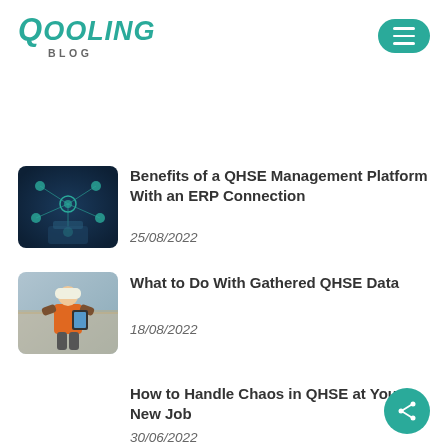Qooling Blog
Benefits of a QHSE Management Platform With an ERP Connection
25/08/2022
What to Do With Gathered QHSE Data
18/08/2022
How to Handle Chaos in QHSE at Your New Job
30/06/2022